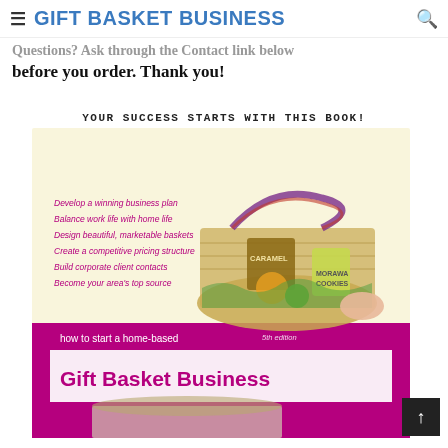≡ GIFT BASKET BUSINESS 🔍
Questions? Ask through the Contact link below before you order. Thank you!
YOUR SUCCESS STARTS WITH THIS BOOK!
[Figure (photo): Book cover: 'How to Start a Home-Based Gift Basket Business, 5th edition' showing a colorful gift basket with cookies, candles, and treats on a cream/yellow background with magenta bottom banner. Bullet points on cover: Develop a winning business plan, Balance work life with home life, Design beautiful marketable baskets, Create a competitive pricing structure, Build corporate client contacts, Become your area's top source.]